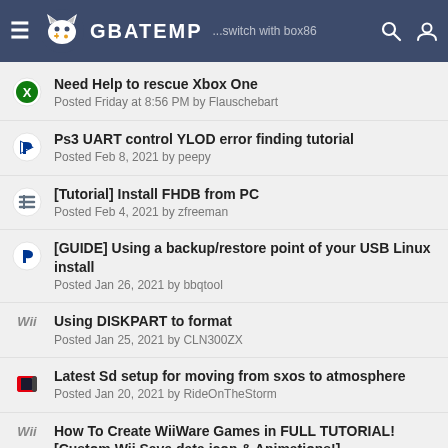GBAtemp — ...switch with box86
Need Help to rescue Xbox One
Posted Friday at 8:56 PM by Flauschebart
Ps3 UART control YLOD error finding tutorial
Posted Feb 8, 2021 by peepy
[Tutorial] Install FHDB from PC
Posted Feb 4, 2021 by zfreeman
[GUIDE] Using a backup/restore point of your USB Linux install
Posted Jan 26, 2021 by bbqtool
Using DISKPART to format
Posted Jan 25, 2021 by CLN300ZX
Latest Sd setup for moving from sxos to atmosphere
Posted Jan 20, 2021 by RideOnTheStorm
How To Create WiiWare Games in FULL TUTORIAL! [Custom Wii Save data icon & Animations!]
Posted Jan 19, 2021 by mrt84
[GUIDE] Permanent Wifi in Linux (Catjaro, Fedora 32)
Posted Jan 18, 2021 by bbqtool
How to play user levels with DScent (Descent DS Port)
Posted Jan 15, 2021 by Nikokaro